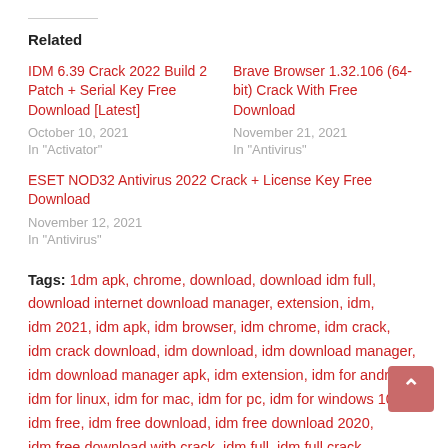Related
IDM 6.39 Crack 2022 Build 2 Patch + Serial Key Free Download [Latest]
October 10, 2021
In "Activator"
Brave Browser 1.32.106 (64-bit) Crack With Free Download
November 21, 2021
In "Antivirus"
ESET NOD32 Antivirus 2022 Crack + License Key Free Download
November 12, 2021
In "Antivirus"
Tags: 1dm apk, chrome, download, download idm full, download internet download manager, extension, idm, idm 2021, idm apk, idm browser, idm chrome, idm crack, idm crack download, idm download, idm download manager, idm download manager apk, idm extension, idm for android, idm for linux, idm for mac, idm for pc, idm for windows 10, idm free, idm free download, idm free download 2020, idm free download with crack, idm full, idm full crack